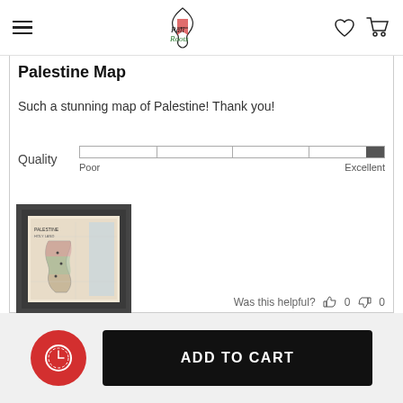PaliRoots — navigation header with hamburger menu, logo, heart icon, cart icon
Palestine Map
Such a stunning map of Palestine! Thank you!
[Figure (infographic): Quality rating bar from Poor to Excellent, filled near Excellent end]
[Figure (photo): Framed historical map of Palestine with dark border]
Was this helpful?  0  0
Timer button and ADD TO CART button